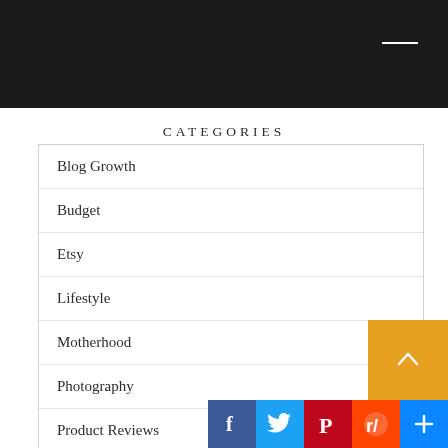CATEGORIES
Blog Growth
Budget
Etsy
Lifestyle
Motherhood
Photography
Product Reviews
Recipes
[Figure (infographic): Back to top button (orange) and social share icons: Facebook (blue), Twitter (cyan), Pinterest (dark red), Reddit (orange-red), More/Plus (blue)]